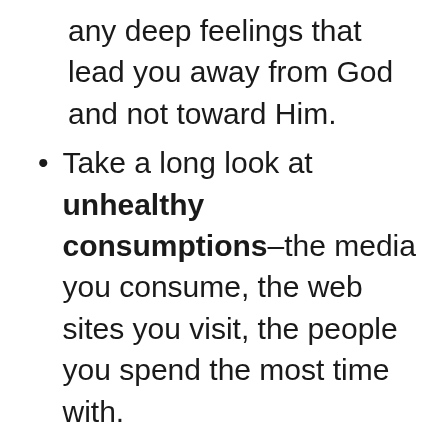any deep feelings that lead you away from God and not toward Him.
Take a long look at unhealthy consumptions–the media you consume, the web sites you visit, the people you spend the most time with.
I know that with me, social media definitely takes up a large chunk of my time. It's something I'm trying to